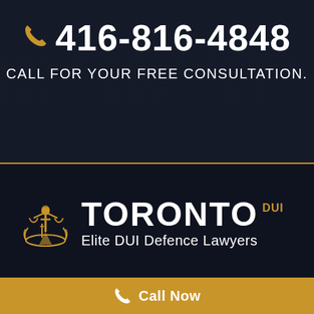416-816-4848
CALL FOR YOUR FREE CONSULTATION.
[Figure (logo): Toronto DUI Elite DUI Defence Lawyers logo with Lady Justice figure in gold on dark background]
We aim to lead in each practice and area of law we work in. Coming
Call Now